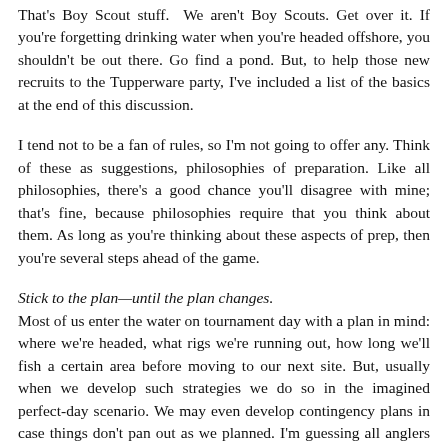That's Boy Scout stuff. We aren't Boy Scouts. Get over it. If you're forgetting drinking water when you're headed offshore, you shouldn't be out there. Go find a pond. But, to help those new recruits to the Tupperware party, I've included a list of the basics at the end of this discussion.
I tend not to be a fan of rules, so I'm not going to offer any. Think of these as suggestions, philosophies of preparation. Like all philosophies, there's a good chance you'll disagree with mine; that's fine, because philosophies require that you think about them. As long as you're thinking about these aspects of prep, then you're several steps ahead of the game.
Stick to the plan—until the plan changes. Most of us enter the water on tournament day with a plan in mind: where we're headed, what rigs we're running out, how long we'll fish a certain area before moving to our next site. But, usually when we develop such strategies we do so in the imagined perfect-day scenario. We may even develop contingency plans in case things don't pan out as we planned. I'm guessing all anglers have been in that situation when the fish just aren't where we hoped they'd be, so we